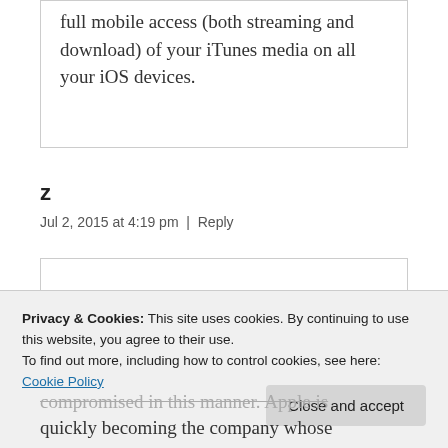full mobile access (both streaming and download) of your iTunes media on all your iOS devices.
z
Jul 2, 2015 at 4:19 pm  |  Reply
Privacy & Cookies: This site uses cookies. By continuing to use this website, you agree to their use.
To find out more, including how to control cookies, see here: Cookie Policy
compromised in this manner. Apple is quickly becoming the company whose